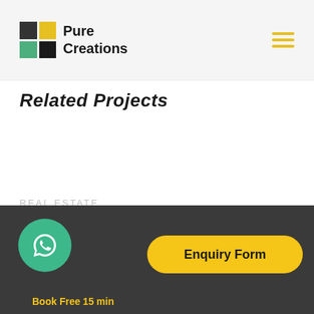Pure Creations
Related Projects
REAL ESTATE
Enquiry Form
Book Free 15 min...